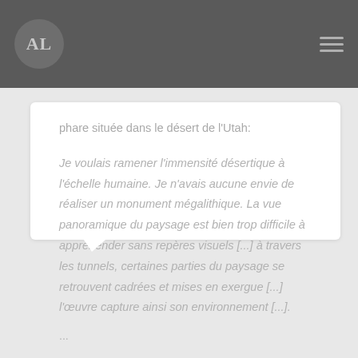AL
phare située dans le désert de l'Utah:
Je voulais ramener l'immensité désertique à l'échelle humaine. Je n'avais aucune envie de réaliser un monument mégalithique. La vue panoramique du paysage est bien trop difficile à appréhender sans repères visuels [...] à travers les tunnels, certaines parties du paysage se retrouvent cadrées et mises en exergue [...] l'œuvre capture ainsi son environnement [...].
...